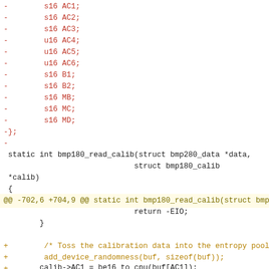Diff/patch code showing removed struct fields (s16 AC1 through s16 MD), a static function signature, a hunk header, context lines with return -EIO and closing brace, added lines for entropy pool comment and add_device_randomness call, then context lines for calib->AC1/AC2/AC3 assignments, and a final hunk header.